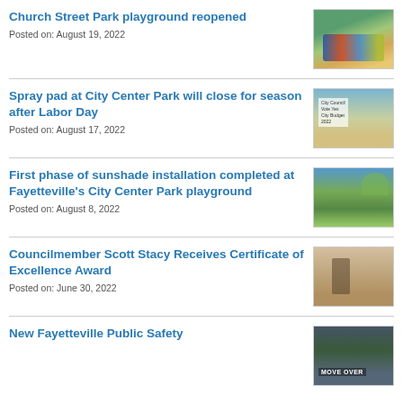Church Street Park playground reopened
Posted on: August 19, 2022
[Figure (photo): Playground equipment at Church Street Park with colorful structures and mulch ground cover]
Spray pad at City Center Park will close for season after Labor Day
Posted on: August 17, 2022
[Figure (photo): Spray pad area at City Center Park with children playing, and a small information sign visible]
First phase of sunshade installation completed at Fayetteville's City Center Park playground
Posted on: August 8, 2022
[Figure (photo): Sunshade installation at City Center Park playground with green trees and blue sky in background]
Councilmember Scott Stacy Receives Certificate of Excellence Award
Posted on: June 30, 2022
[Figure (photo): Interior room photo showing a person standing near a door, likely receiving an award]
New Fayetteville Public Safety
[Figure (photo): Outdoor photo with text MOVE OVER visible on a sign or banner]